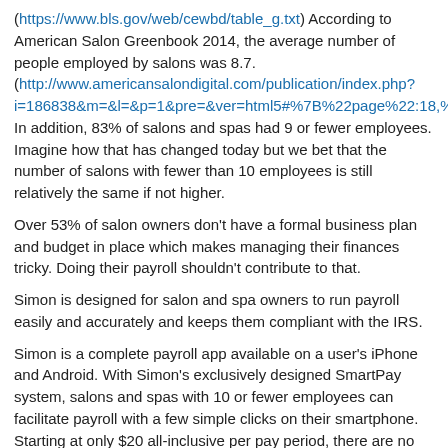(https://www.bls.gov/web/cewbd/table_g.txt) According to American Salon Greenbook 2014, the average number of people employed by salons was 8.7. (http://www.americansalondigital.com/publication/index.php?i=186838&m=&l=&p=1&pre=&ver=html5#%7B%22page%22:18,%22 In addition, 83% of salons and spas had 9 or fewer employees. Imagine how that has changed today but we bet that the number of salons with fewer than 10 employees is still relatively the same if not higher.
Over 53% of salon owners don't have a formal business plan and budget in place which makes managing their finances tricky. Doing their payroll shouldn't contribute to that.
Simon is designed for salon and spa owners to run payroll easily and accurately and keeps them compliant with the IRS.
Simon is a complete payroll app available on a user's iPhone and Android. With Simon's exclusively designed SmartPay system, salons and spas with 10 or fewer employees can facilitate payroll with a few simple clicks on their smartphone. Starting at only $20 all-inclusive per pay period, there are no additional processing fees and no monthly fees of any kind.
"We've created a ticker countdown system that periodically alerts the salon and spa owner through text message and